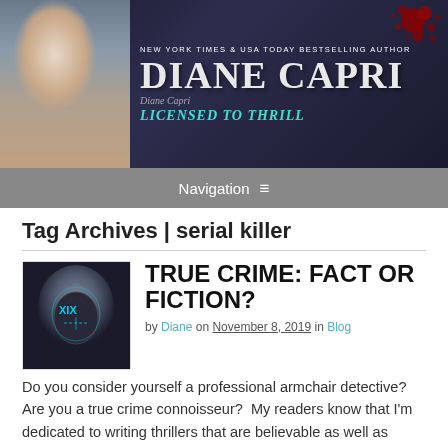[Figure (illustration): Website header banner for author Diane Capri showing a woman with short blonde hair in a red jacket on the left, dark city skyline background, text reading 'NEW YORK TIMES & USA TODAY BESTSELLING AUTHOR', 'DIANE CAPRI', 'LICENSED TO THRILL', with blood splatter graphic on the right]
Navigation ≡
Tag Archives | serial killer
[Figure (photo): Dark moody image of a person wearing a glowing neon mask with XIX markings, face obscured in shadow]
TRUE CRIME: FACT OR FICTION?
by Diane on November 8, 2019 in Blog
Do you consider yourself a professional armchair detective? Are you a true crime connoisseur?  My readers know that I'm dedicated to writing thrillers that are believable as well as exciting. My plots are always at least